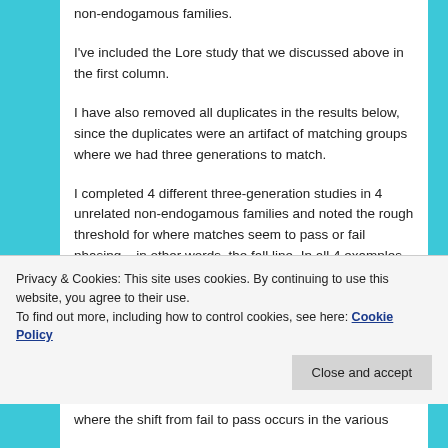non-endogamous families.
I've included the Lore study that we discussed above in the first column.
I have also removed all duplicates in the results below, since the duplicates were an artifact of matching groups where we had three generations to match.
I completed 4 different three-generation studies in 4 unrelated non-endogamous families and noted the rough threshold for where matches seem to pass or fail phasing – in other words, the fall line. In all 4 examples below, the threshold was between 2.46 and 3.16 cM.  You could
Privacy & Cookies: This site uses cookies. By continuing to use this website, you agree to their use.
To find out more, including how to control cookies, see here: Cookie Policy
where the shift from fail to pass occurs in the various